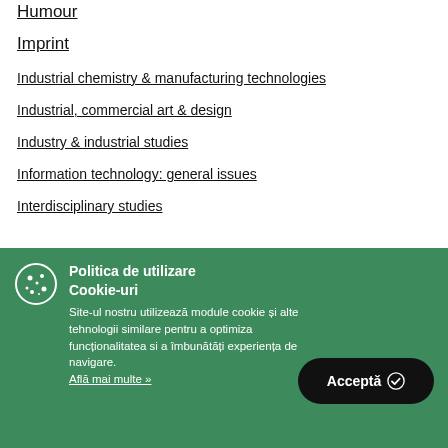Humour
Imprint
Industrial chemistry & manufacturing technologies
Industrial, commercial art & design
Industry & industrial studies
Information technology: general issues
Interdisciplinary studies
Politica de utilizare Cookie-uri
Site-ul nostru utilizează module cookie și alte tehnologii similare pentru a optimiza funcționalitatea si a îmbunătăți experiența de navigare.
Află mai multe »